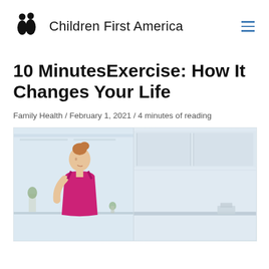Children First America
10 MinutesExercise: How It Changes Your Life
Family Health / February 1, 2021 / 4 minutes of reading
[Figure (photo): A woman with reddish hair in a bun wearing a pink/magenta sleeveless top, exercising in a bright kitchen setting. Right half shows a light minimalist kitchen interior.]